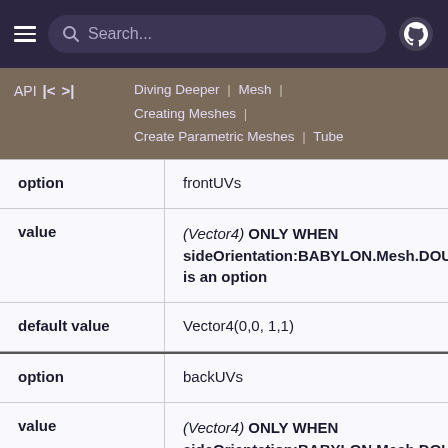Search...
API | << | >> | Diving Deeper | Mesh | Creating Meshes | Create Parametric Meshes | Tube
|  |  |
| --- | --- |
| option | frontUVs |
| value | (Vector4)  ONLY WHEN sideOrientation:BABYLON.Mesh.DOUBLESIDE is an option |
| default value | Vector4(0,0, 1,1) |
| option | backUVs |
| value | (Vector4)  ONLY WHEN sideOrientation:BABYLON.Mesh.DOUBLESIDE is an option |